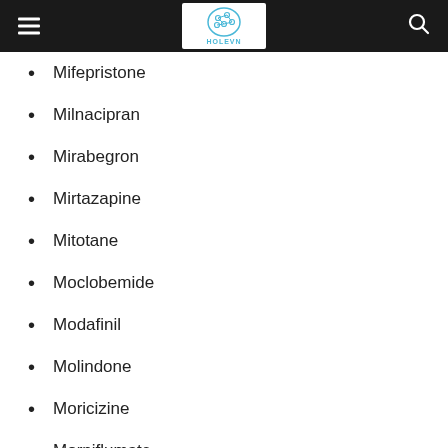HOLEVN
Mifepristone
Milnacipran
Mirabegron
Mirtazapine
Mitotane
Moclobemide
Modafinil
Molindone
Moricizine
Morniflumate
Morphine